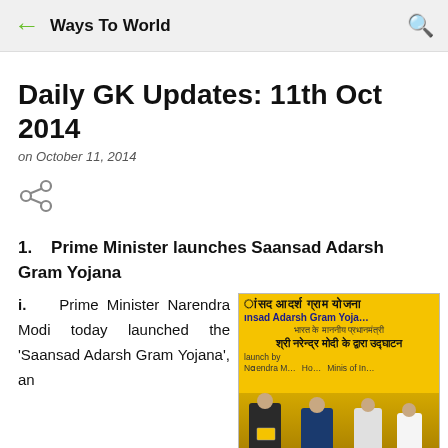Ways To World
Daily GK Updates: 11th Oct 2014
on October 11, 2014
[Figure (other): Share icon]
1.  Prime Minister launches Saansad Adarsh Gram Yojana
i.  Prime Minister Narendra Modi today launched the 'Saansad Adarsh Gram Yojana', an
[Figure (photo): Photo of Prime Minister Narendra Modi launching Saansad Adarsh Gram Yojana with a yellow banner showing the scheme name in Hindi and English, with officials on stage]